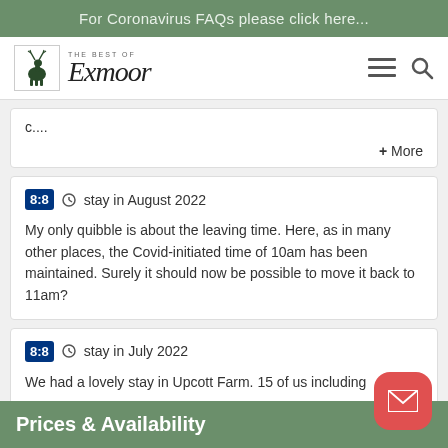For Coronavirus FAQs please click here...
[Figure (logo): The Best of Exmoor logo with deer silhouette and cursive Exmoor text, hamburger menu and search icons]
c....
+ More
stay in August 2022
My only quibble is about the leaving time. Here, as in many other places, the Covid-initiated time of 10am has been maintained. Surely it should now be possible to move it back to 11am?
stay in July 2022
We had a lovely stay in Upcott Farm. 15 of us including
Prices & Availability